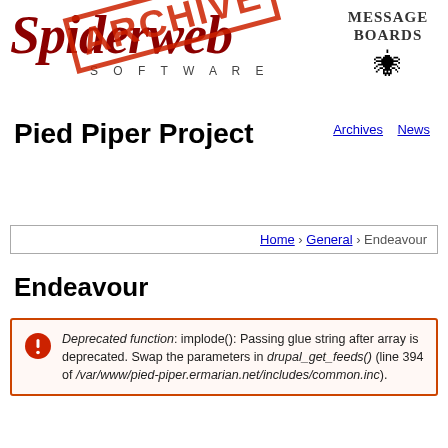[Figure (logo): Spiderweb Software logo with stylized spider-web lettering and 'SOFTWARE' subtitle, overlaid with a red diagonal ARCHIVE stamp. To the right: 'MESSAGE BOARDS' text with a spider icon.]
Pied Piper Project
Archives   News
Home › General › Endeavour
Endeavour
Deprecated function: implode(): Passing glue string after array is deprecated. Swap the parameters in drupal_get_feeds() (line 394 of /var/www/pied-piper.ermarian.net/includes/common.inc).